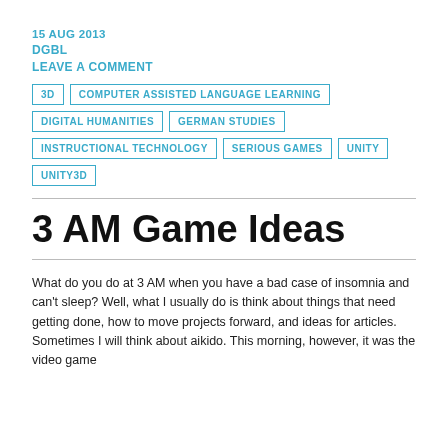15 AUG 2013
DGBL
LEAVE A COMMENT
3D | COMPUTER ASSISTED LANGUAGE LEARNING | DIGITAL HUMANITIES | GERMAN STUDIES | INSTRUCTIONAL TECHNOLOGY | SERIOUS GAMES | UNITY | UNITY3D
3 AM Game Ideas
What do you do at 3 AM when you have a bad case of insomnia and can't sleep? Well, what I usually do is think about things that need getting done, how to move projects forward, and ideas for articles. Sometimes I will think about aikido. This morning, however, it was the video game